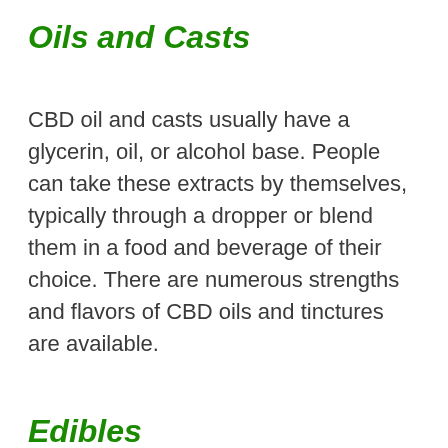Oils and Casts
CBD oil and casts usually have a glycerin, oil, or alcohol base. People can take these extracts by themselves, typically through a dropper or blend them in a food and beverage of their choice. There are numerous strengths and flavors of CBD oils and tinctures are available.
Edibles